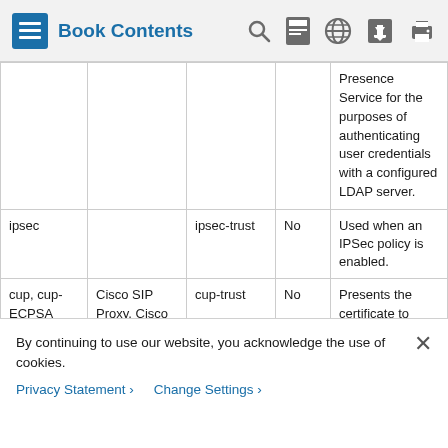Book Contents
|  |  |  |  |  |
| --- | --- | --- | --- | --- |
|  |  |  |  | Presence Service for the purposes of authenticating user credentials with a configured LDAP server. |
| ipsec |  | ipsec-trust | No | Used when an IPSec policy is enabled. |
| cup, cup-ECPSA | Cisco SIP Proxy, Cisco | cup-trust | No | Presents the certificate to Expressway-C |
By continuing to use our website, you acknowledge the use of cookies.
Privacy Statement > Change Settings >